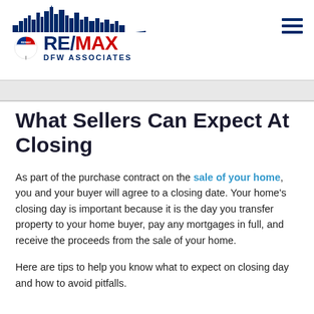[Figure (logo): RE/MAX DFW Associates logo with city skyline silhouette above the RE/MAX name and balloon icon]
What Sellers Can Expect At Closing
As part of the purchase contract on the sale of your home, you and your buyer will agree to a closing date. Your home's closing day is important because it is the day you transfer property to your home buyer, pay any mortgages in full, and receive the proceeds from the sale of your home.
Here are tips to help you know what to expect on closing day and how to avoid pitfalls.